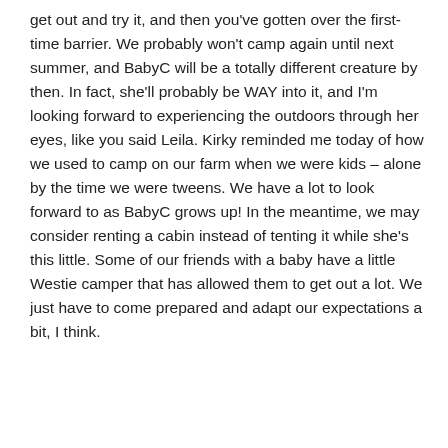get out and try it, and then you've gotten over the first-time barrier. We probably won't camp again until next summer, and BabyC will be a totally different creature by then. In fact, she'll probably be WAY into it, and I'm looking forward to experiencing the outdoors through her eyes, like you said Leila. Kirky reminded me today of how we used to camp on our farm when we were kids – alone by the time we were tweens. We have a lot to look forward to as BabyC grows up! In the meantime, we may consider renting a cabin instead of tenting it while she's this little. Some of our friends with a baby have a little Westie camper that has allowed them to get out a lot. We just have to come prepared and adapt our expectations a bit, I think.